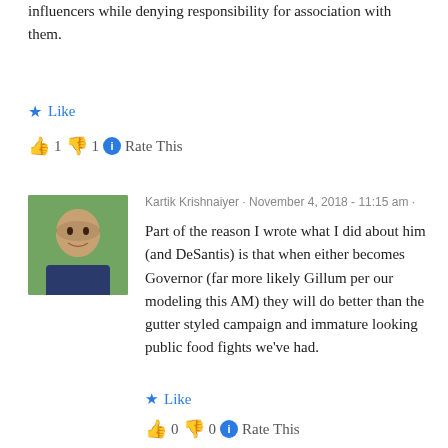influencers while denying responsibility for association with them.
★ Like
👍 1 👎 1 ℹ Rate This
Kartik Krishnaiyer · November 4, 2018 - 11:15 am ·
[Figure (photo): Profile photo of Kartik Krishnaiyer, a man in a suit with a dark background]
Part of the reason I wrote what I did about him (and DeSantis) is that when either becomes Governor (far more likely Gillum per our modeling this AM) they will do better than the gutter styled campaign and immature looking public food fights we've had.
★ Like
👍 0 👎 0 ℹ Rate This